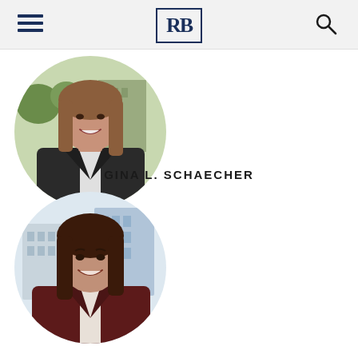RB
[Figure (photo): Circular professional headshot of Gina L. Schaecher, a woman with long brown hair, smiling, wearing a dark blazer with white shirt, outdoor office building background]
GINA L. SCHAECHER
[Figure (photo): Circular professional headshot of a woman with dark brown hair, smiling, wearing a dark maroon blazer, outdoor urban building background]